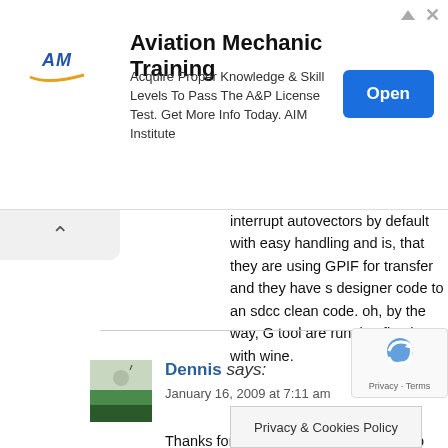[Figure (infographic): Advertisement banner for Aviation Mechanic Training by AIM Institute with logo, text, and Open button]
interrupt autovectors by default with easy handling and is, that they are using GPIF for transfer and they have s designer code to an sdcc clean code. oh, by the way, G tool are running fine here with wine.
Dennis says:
January 16, 2009 at 7:11 am
Thanks for the additional info. I'll have to take a look a didn't miss anything in my library I've created.
I also run the GPIF designer on Linux via W all because objcopy has ihx to binary suppo I made a few m Bix program an